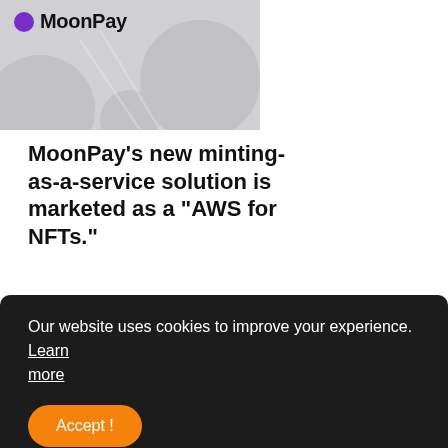[Figure (logo): MoonPay logo on grey background with decorative circles]
MoonPay's new minting-as-a-service solution is marketed as a "AWS for NFTs."
Post a Comment (0)
< Previous Post
Next Post >
POPULAR POSTS
Our website uses cookies to improve your experience. Learn more
Accept!